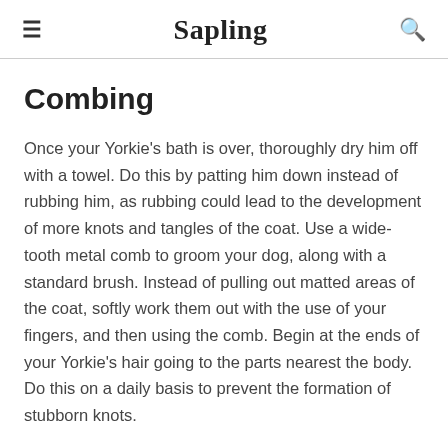Sapling
Combing
Once your Yorkie's bath is over, thoroughly dry him off with a towel. Do this by patting him down instead of rubbing him, as rubbing could lead to the development of more knots and tangles of the coat. Use a wide-tooth metal comb to groom your dog, along with a standard brush. Instead of pulling out matted areas of the coat, softly work them out with the use of your fingers, and then using the comb. Begin at the ends of your Yorkie's hair going to the parts nearest the body. Do this on a daily basis to prevent the formation of stubborn knots.